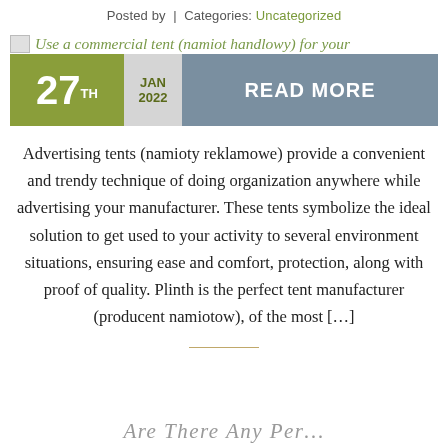Posted by  |  Categories: Uncategorized
Use a commercial tent (namiot handlowy) for your
27TH  JAN 2022  READ MORE
Advertising tents (namioty reklamowe) provide a convenient and trendy technique of doing organization anywhere while advertising your manufacturer. These tents symbolize the ideal solution to get used to your activity to several environment situations, ensuring ease and comfort, protection, along with proof of quality. Plinth is the perfect tent manufacturer (producent namiotow), of the most […]
Are There Any Per...